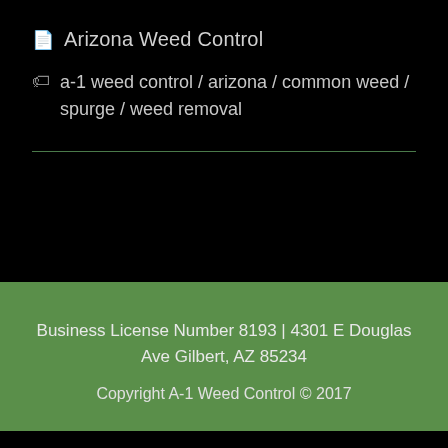Arizona Weed Control
a-1 weed control / arizona / common weed / spurge / weed removal
Business License Number 8193 | 4301 E Douglas Ave Gilbert, AZ 85234
Copyright A-1 Weed Control © 2017